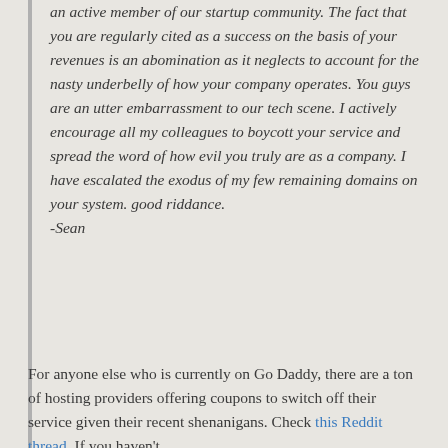an active member of our startup community. The fact that you are regularly cited as a success on the basis of your revenues is an abomination as it neglects to account for the nasty underbelly of how your company operates. You guys are an utter embarrassment to our tech scene. I actively encourage all my colleagues to boycott your service and spread the word of how evil you truly are as a company. I have escalated the exodus of my few remaining domains on your system. good riddance.

-Sean
For anyone else who is currently on Go Daddy, there are a ton of hosting providers offering coupons to switch off their service given their recent shenanigans. Check this Reddit thread. If you haven't